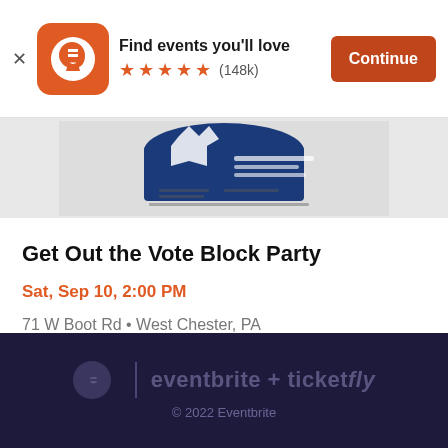[Figure (screenshot): Eventbrite app banner with logo, 'Find events you'll love', 5-star rating, (148k) reviews, and Continue button]
[Figure (photo): Partial event flyer image showing blue and white design for Get Out the Vote Block Party]
Get Out the Vote Block Party
Sat, Sep 10, 2:00 PM
71 W Boot Rd • West Chester, PA
Free
eventbrite + ticketfly © 2022 Eventbrite